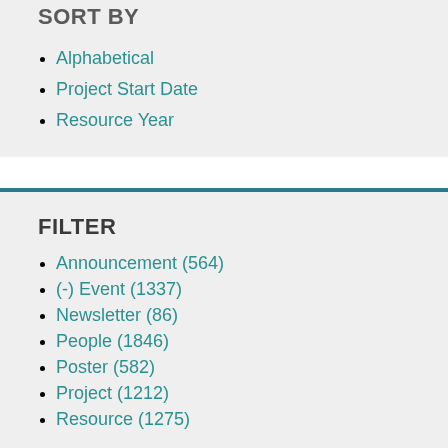SORT BY
Alphabetical
Project Start Date
Resource Year
FILTER
Announcement (564)
(-) Event (1337)
Newsletter (86)
People (1846)
Poster (582)
Project (1212)
Resource (1275)